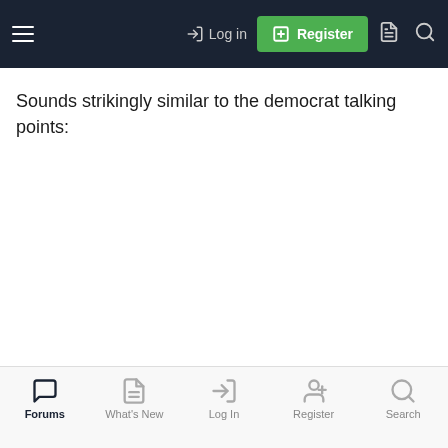Log in | Register
Sounds strikingly similar to the democrat talking points:
Forums | What's New | Log In | Register | Search